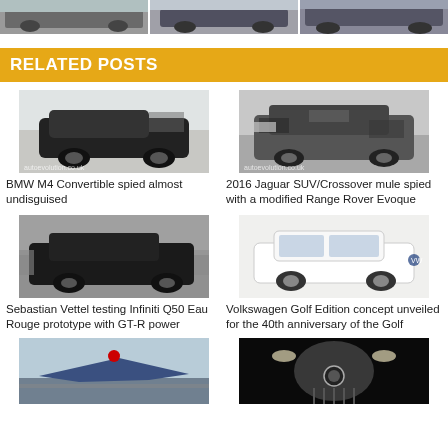[Figure (photo): Three car photos at top of page cropped]
RELATED POSTS
[Figure (photo): BMW M4 Convertible spy photo in snow]
BMW M4 Convertible spied almost undisguised
[Figure (photo): 2016 Jaguar SUV/Crossover mule with camouflage wrap]
2016 Jaguar SUV/Crossover mule spied with a modified Range Rover Evoque
[Figure (photo): Sebastian Vettel testing Infiniti Q50 Eau Rouge prototype on track]
Sebastian Vettel testing Infiniti Q50 Eau Rouge prototype with GT-R power
[Figure (photo): Volkswagen Golf Edition white car]
Volkswagen Golf Edition concept unveiled for the 40th anniversary of the Golf
[Figure (photo): Fighter jet with red star on airfield]
[Figure (photo): Dark close-up of car front end with badge]